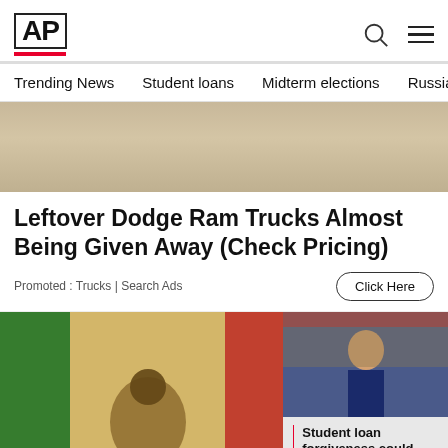AP
Trending News  Student loans  Midterm elections  Russia-Ukr
[Figure (photo): Partial top of a vehicle or sandy surface — hero image below navigation]
Leftover Dodge Ram Trucks Almost Being Given Away (Check Pricing)
Promoted : Trucks | Search Ads
[Figure (photo): Smiling woman with long hair in front of Mexican flag with eagle emblem]
[Figure (photo): Video thumbnail showing a man in a suit speaking at a podium, with caption: Student loan forgiveness could help more than 40...]